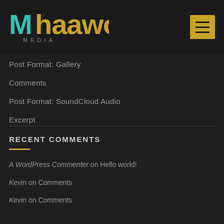[Figure (logo): Mhaawoo Media logo with teal/green M and yellow/gold Haawoo text, MEDIA subtitle]
Post Format: Gallery
Comments
Post Format: SoundCloud Audio
Excerpt
RECENT COMMENTS
A WordPress Commenter on Hello world!
Kevin on Comments
Kevin on Comments